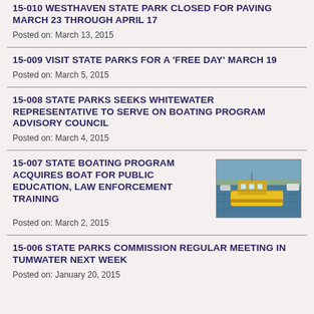15-010 WESTHAVEN STATE PARK CLOSED FOR PAVING MARCH 23 THROUGH APRIL 17
Posted on: March 13, 2015
15-009 VISIT STATE PARKS FOR A ‘FREE DAY’ MARCH 19
Posted on: March 5, 2015
15-008 STATE PARKS SEEKS WHITEWATER REPRESENTATIVE TO SERVE ON BOATING PROGRAM ADVISORY COUNCIL
Posted on: March 4, 2015
15-007 STATE BOATING PROGRAM ACQUIRES BOAT FOR PUBLIC EDUCATION, LAW ENFORCEMENT TRAINING
[Figure (photo): Yellow boat on water with marina in background]
Posted on: March 2, 2015
15-006 STATE PARKS COMMISSION REGULAR MEETING IN TUMWATER NEXT WEEK
Posted on: January 20, 2015